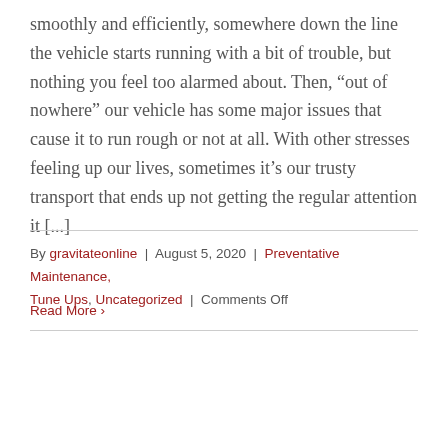smoothly and efficiently, somewhere down the line the vehicle starts running with a bit of trouble, but nothing you feel too alarmed about. Then, “out of nowhere” our vehicle has some major issues that cause it to run rough or not at all. With other stresses feeling up our lives, sometimes it’s our trusty transport that ends up not getting the regular attention it [...]
By gravitateonline | August 5, 2020 | Preventative Maintenance, Tune Ups, Uncategorized | Comments Off
Read More ›